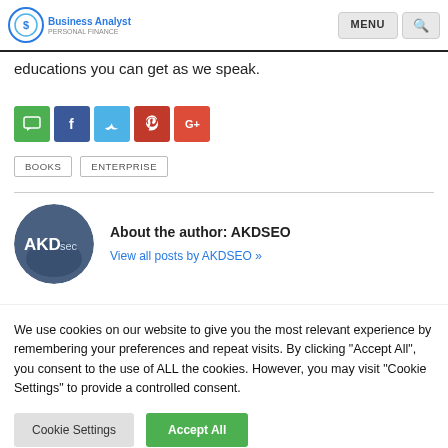Business Analyst — MENU [search]
educations you can get as we speak.
[Figure (infographic): Social share icons: chat (green), Facebook (blue), Twitter (light blue), Pinterest (red), Google+ (orange-red)]
BOOKS   ENTERPRISE
About the author: AKDSEO
View all posts by AKDSEO »
We use cookies on our website to give you the most relevant experience by remembering your preferences and repeat visits. By clicking "Accept All", you consent to the use of ALL the cookies. However, you may visit "Cookie Settings" to provide a controlled consent.
Cookie Settings   Accept All